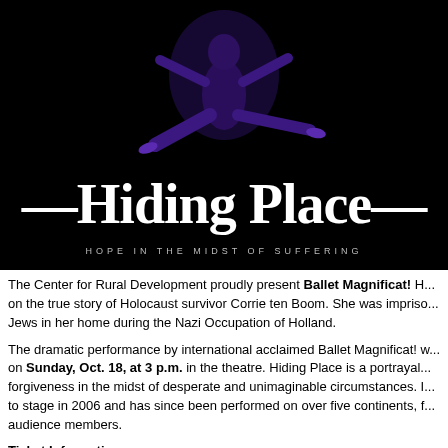[Figure (illustration): Promotional banner with black background showing a ballet dancer leaping in purple-tinted lighting, with the title 'Hiding Place' in large white serif font and subtitle 'HOPE IN THE MIDST OF SUFFERING' below]
The Center for Rural Development proudly present Ballet Magnificat! H... on the true story of Holocaust survivor Corrie ten Boom. She was imprison... Jews in her home during the Nazi Occupation of Holland.
The dramatic performance by international acclaimed Ballet Magnificat! w... on Sunday, Oct. 18, at 3 p.m. in the theatre. Hiding Place is a portrayal... forgiveness in the midst of desperate and unimaginable circumstances. I... to stage in 2006 and has since been performed on over five continents, f... audience members.
Ticket Information
Reserved tickets are $13 per person (plus fees). To purchase tickets, ca...